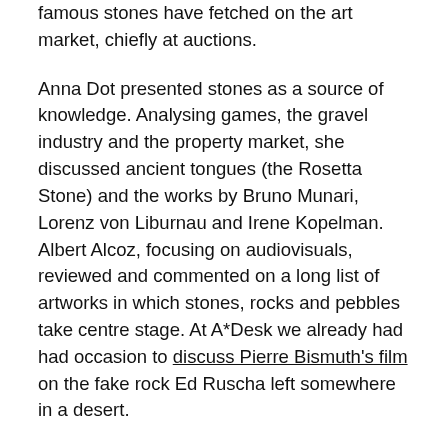famous stones have fetched on the art market, chiefly at auctions.
Anna Dot presented stones as a source of knowledge. Analysing games, the gravel industry and the property market, she discussed ancient tongues (the Rosetta Stone) and the works by Bruno Munari, Lorenz von Liburnau and Irene Kopelman. Albert Alcoz, focusing on audiovisuals, reviewed and commented on a long list of artworks in which stones, rocks and pebbles take centre stage. At A*Desk we already had had occasion to discuss Pierre Bismuth's film on the fake rock Ed Ruscha left somewhere in a desert.
Captured rocks, and rocks that have been stolen and deported feature in the text by Carlota Surós about the Kueka Stone and the Global Stone art project by Wolfgang Kraker von Schwarzenfeld. Despite the happy ending for the indigenous people who are the legitimate owners of the stone, this is illustrated by